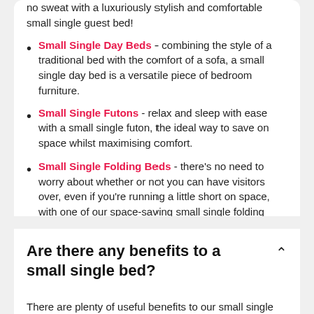no sweat with a luxuriously stylish and comfortable small single guest bed!
Small Single Day Beds - combining the style of a traditional bed with the comfort of a sofa, a small single day bed is a versatile piece of bedroom furniture.
Small Single Futons - relax and sleep with ease with a small single futon, the ideal way to save on space whilst maximising comfort.
Small Single Folding Beds - there's no need to worry about whether or not you can have visitors over, even if you're running a little short on space, with one of our space-saving small single folding beds.
Are there any benefits to a small single bed?
There are plenty of useful benefits to our small single beds, as their smaller size means that they can be used in a wide range of rooms with ease. This means that a small single bed will allow